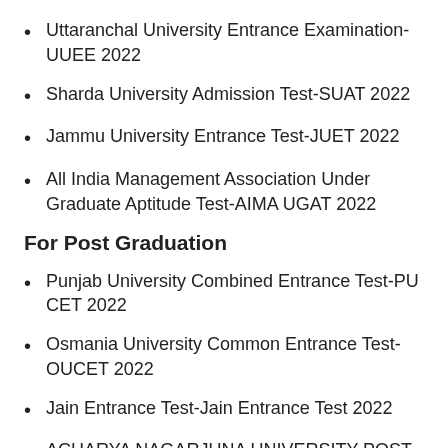Uttaranchal University Entrance Examination-UUEE 2022
Sharda University Admission Test-SUAT 2022
Jammu University Entrance Test-JUET 2022
All India Management Association Under Graduate Aptitude Test-AIMA UGAT 2022
For Post Graduation
Punjab University Combined Entrance Test-PU CET 2022
Osmania University Common Entrance Test-OUCET 2022
Jain Entrance Test-Jain Entrance Test 2022
ACHARYA NAGARJUNA UNIVERSITY POST GRADUATE COMMON ENTRANCE TEST-